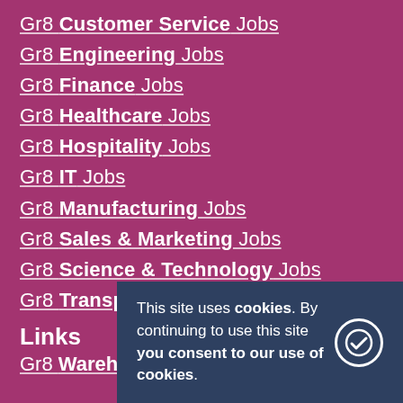Gr8 Customer Service Jobs
Gr8 Engineering Jobs
Gr8 Finance Jobs
Gr8 Healthcare Jobs
Gr8 Hospitality Jobs
Gr8 IT Jobs
Gr8 Manufacturing Jobs
Gr8 Sales & Marketing Jobs
Gr8 Science & Technology Jobs
Gr8 Transport Jobs
Links
Gr8 Warehouse Jobs
This site uses cookies. By continuing to use this site you consent to our use of cookies.